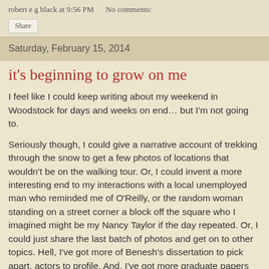robert e g black at 9:56 PM   No comments:
Share
Saturday, February 15, 2014
it's beginning to grow on me
I feel like I could keep writing about my weekend in Woodstock for days and weeks on end… but I'm not going to.
Seriously though, I could give a narrative account of trekking through the snow to get a few photos of locations that wouldn't be on the walking tour. Or, I could invent a more interesting end to my interactions with a local unemployed man who reminded me of O'Reilly, or the random woman standing on a street corner a block off the square who I imagined might be my Nancy Taylor if the day repeated. Or, I could just share the last batch of photos and get on to other topics. Hell, I've got more of Benesh's dissertation to pick apart, actors to profile. And, I've got more graduate papers